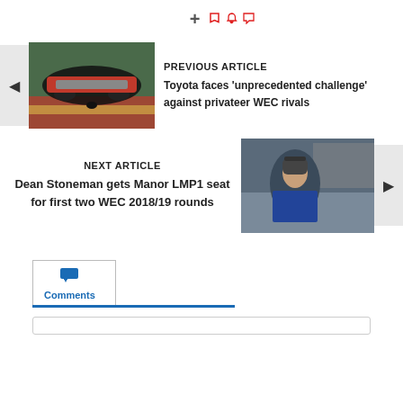[Figure (screenshot): Social sharing bar with Facebook, Twitter, plus sign, and three red circle icons (bookmark, bell, comment)]
[Figure (photo): Previous article card with Toyota racing car image and text 'PREVIOUS ARTICLE - Toyota faces unprecedented challenge against privateer WEC rivals']
[Figure (photo): Next article card with Dean Stoneman portrait image and text 'NEXT ARTICLE - Dean Stoneman gets Manor LMP1 seat for first two WEC 2018/19 rounds']
[Figure (screenshot): Comments tab section with chat icon and Comments label in blue, with a comment input box below]